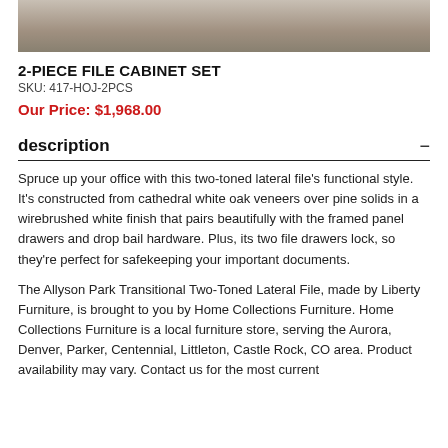[Figure (photo): Partial view of a 2-piece file cabinet set, grayscale product photo cropped at top of page]
2-PIECE FILE CABINET SET
SKU: 417-HOJ-2PCS
Our Price: $1,968.00
description
Spruce up your office with this two-toned lateral file's functional style. It's constructed from cathedral white oak veneers over pine solids in a wirebrushed white finish that pairs beautifully with the framed panel drawers and drop bail hardware. Plus, its two file drawers lock, so they're perfect for safekeeping your important documents.
The Allyson Park Transitional Two-Toned Lateral File, made by Liberty Furniture, is brought to you by Home Collections Furniture. Home Collections Furniture is a local furniture store, serving the Aurora, Denver, Parker, Centennial, Littleton, Castle Rock, CO area. Product availability may vary. Contact us for the most current